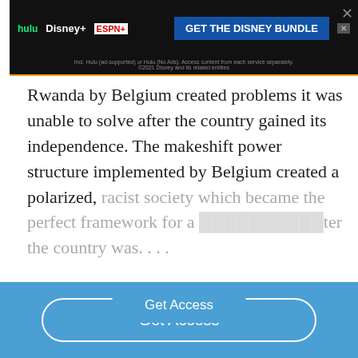[Figure (screenshot): Hulu Disney+ ESPN+ advertisement banner with 'GET THE DISNEY BUNDLE' call to action on dark background]
Rwanda by Belgium created problems it was unable to solve after the country gained its independence. The makeshift power structure implemented by Belgium created a polarized, racist society which became the perfect framework for a [blocked] ter the country was....
[Figure (other): Get Access button overlay in blue pill shape]
[Figure (other): Get Access button in white-outlined pill on blue footer bar]